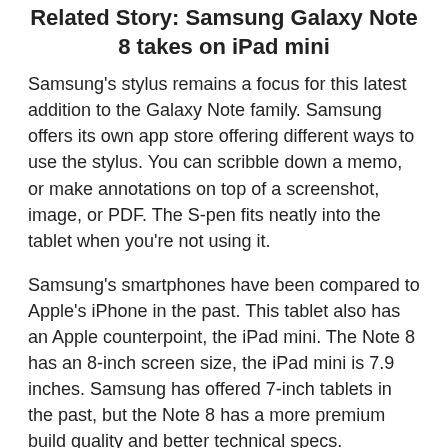Related Story: Samsung Galaxy Note 8 takes on iPad mini
Samsung's stylus remains a focus for this latest addition to the Galaxy Note family. Samsung offers its own app store offering different ways to use the stylus. You can scribble down a memo, or make annotations on top of a screenshot, image, or PDF. The S-pen fits neatly into the tablet when you're not using it.
Samsung's smartphones have been compared to Apple's iPhone in the past. This tablet also has an Apple counterpoint, the iPad mini. The Note 8 has an 8-inch screen size, the iPad mini is 7.9 inches. Samsung has offered 7-inch tablets in the past, but the Note 8 has a more premium build quality and better technical specs.